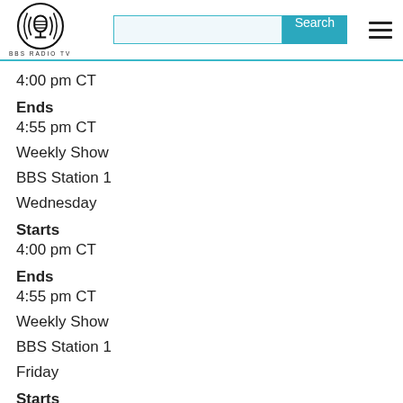BBS RADIO TV — Search bar — Navigation menu
4:00 pm CT
Ends
4:55 pm CT
Weekly Show
BBS Station 1
Wednesday
Starts
4:00 pm CT
Ends
4:55 pm CT
Weekly Show
BBS Station 1
Friday
Starts